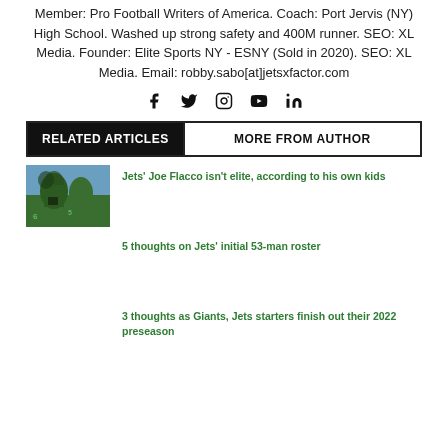Member: Pro Football Writers of America. Coach: Port Jervis (NY) High School. Washed up strong safety and 400M runner. SEO: XL Media. Founder: Elite Sports NY - ESNY (Sold in 2020). SEO: XL Media. Email: robby.sabo[at]jetsxfactor.com
[Figure (other): Social media icons: Facebook, Twitter, Instagram, YouTube, LinkedIn]
RELATED ARTICLES   MORE FROM AUTHOR
[Figure (photo): Photo of Jets player Joe Flacco in green uniform during a game]
Jets' Joe Flacco isn't elite, according to his own kids
5 thoughts on Jets' initial 53-man roster
3 thoughts as Giants, Jets starters finish out their 2022 preseason